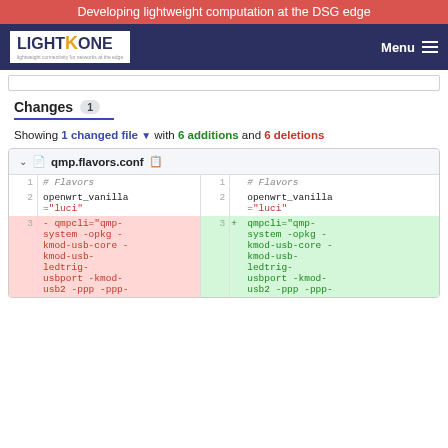Developing lightweight computation at the DSG edge
[Figure (screenshot): LightKone logo and navigation menu bar]
Changes 1
Showing 1 changed file with 6 additions and 6 deletions
| line-old | code-old | line-new | diff-op | code-new |
| --- | --- | --- | --- | --- |
| 1 | # Flavors | 1 |  | # Flavors |
| 2 | openwrt_vanilla ="luci" | 2 |  | openwrt_vanilla ="luci" |
| 3 | qmpcli="qmp-system -opkg -kmod-usb-core -kmod-usb-ledtrig-usbport -kmod-usb2 -ppp -ppp- | 3 | + | qmpcli="qmp-system -opkg -kmod-usb-core -kmod-usb-ledtrig-usbport -kmod-usb2 -ppp -ppp- |